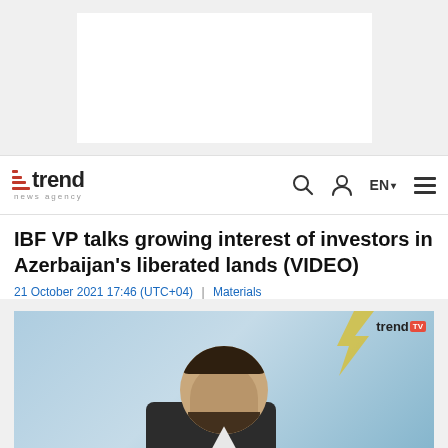[Figure (other): Advertisement banner placeholder (white rectangle on gray background)]
trend news agency | Q | EN | menu
IBF VP talks growing interest of investors in Azerbaijan's liberated lands (VIDEO)
21 October 2021 17:46 (UTC+04) | Materials
[Figure (photo): A man standing in front of a banner reading '25th INTERNATIONAL BUSINESS FO[RUM] [A]ZERBAIJAN' at an event. The trend TV watermark is visible in the top right corner.]